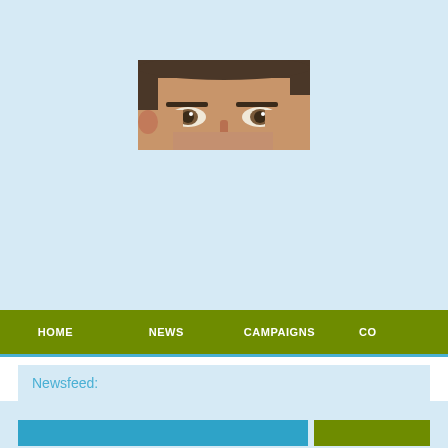[Figure (photo): Cropped photo of a man's face showing forehead, eyes, and nose against a light blue background]
HOME   NEWS   CAMPAIGNS   CO
Newsfeed:
[Figure (other): Blue and green button/banner elements at bottom of page]